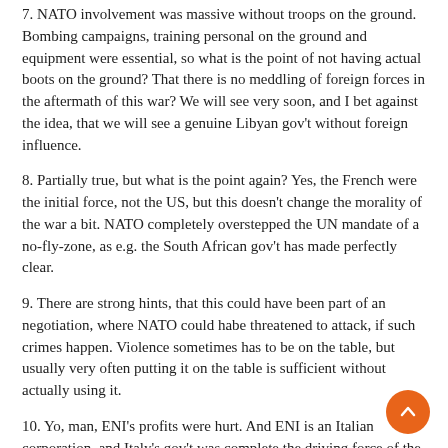7. NATO involvement was massive without troops on the ground. Bombing campaigns, training personal on the ground and equipment were essential, so what is the point of not having actual boots on the ground? That there is no meddling of foreign forces in the aftermath of this war? We will see very soon, and I bet against the idea, that we will see a genuine Libyan gov't without foreign influence.
8. Partially true, but what is the point again? Yes, the French were the initial force, not the US, but this doesn't change the morality of the war a bit. NATO completely overstepped the UN mandate of a no-fly-zone, as e.g. the South African gov't has made perfectly clear.
9. There are strong hints, that this could have been part of an negotiation, where NATO could habe threatened to attack, if such crimes happen. Violence sometimes has to be on the table, but usually very often putting it on the table is sufficient without actually using it.
10. Yo, man, ENI's profits were hurt. And ENI is an Italian corporation, and Italy's gov't was complete the driving force of the war. See point 2.
KFritz
August 23, 2011 at 2:17 pm